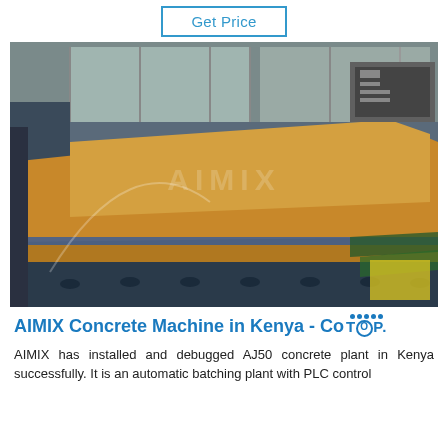Get Price
[Figure (photo): Industrial machinery – concrete batching plant or manufacturing line with conveyor belts and brown/orange panel sheets, taken inside a factory with glass-panel safety enclosures and rollers, with a watermark overlay.]
AIMIX Concrete Machine in Kenya - Co TOP.
AIMIX has installed and debugged AJ50 concrete plant in Kenya successfully. It is an automatic batching plant with PLC control